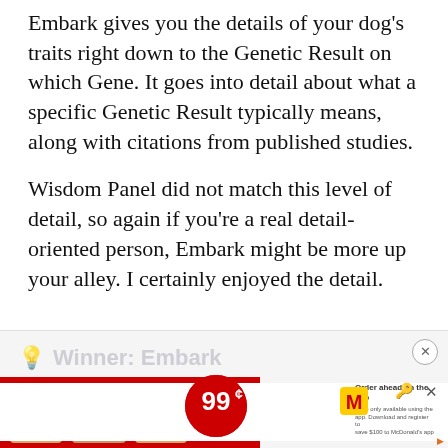Embark gives you the details of your dog's traits right down to the Genetic Result on which Gene. It goes into detail about what a specific Genetic Result typically means, along with citations from published studies.
Wisdom Panel did not match this level of detail, so again if you're a real detail-oriented person, Embark might be more up your alley. I certainly enjoyed the detail.
[Figure (screenshot): Advertisement section showing 'Winner: Embark' header (partially obscured) and a McDonald's McCafe advertisement featuring three iced coffee drinks with a 99 cent promotion for any size until 11AM, with an option to order ahead on the app.]